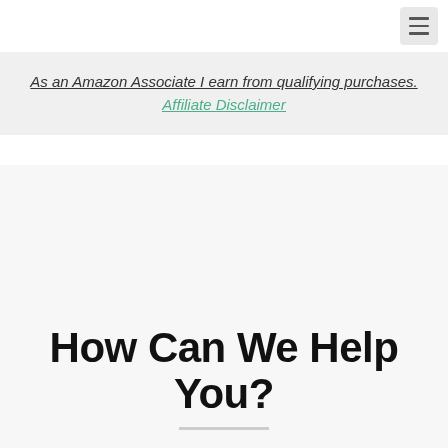As an Amazon Associate I earn from qualifying purchases. Affiliate Disclaimer
How Can We Help You?